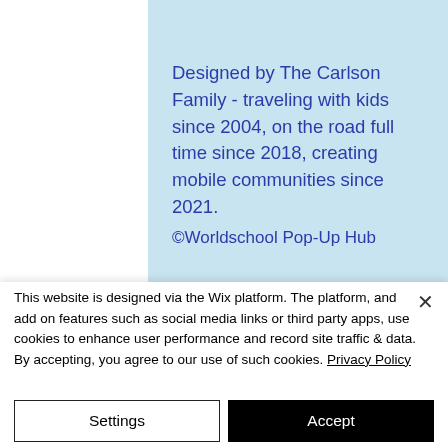Designed by The Carlson Family - traveling with kids since 2004, on the road full time since 2018, creating mobile communities since 2021.
©Worldschool Pop-Up Hub
This website is designed via the Wix platform. The platform, and add on features such as social media links or third party apps, use cookies to enhance user performance and record site traffic & data. By accepting, you agree to our use of such cookies. Privacy Policy
Settings
Accept